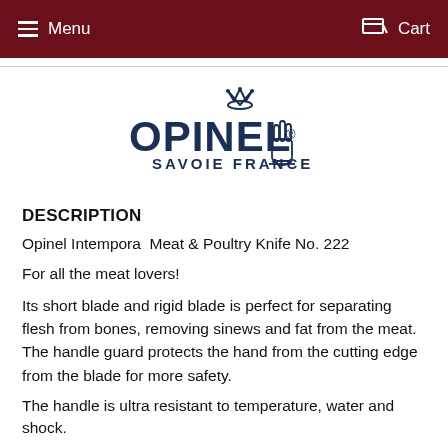Menu   Cart
[Figure (logo): Opinel Savoie France logo with crown and hand symbol in dark navy blue]
DESCRIPTION
Opinel Intempora  Meat & Poultry Knife No. 222
For all the meat lovers!
Its short blade and rigid blade is perfect for separating flesh from bones, removing sinews and fat from the meat. The handle guard protects the hand from the cutting edge from the blade for more safety.
The handle is ultra resistant to temperature, water and shock.